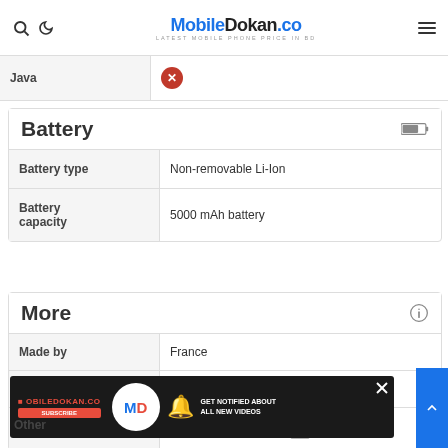MobileDokan.co — Latest Mobile Phone Price in BD
|  |  |
| --- | --- |
| Java | ✗ |
Battery
| Battery type | Battery capacity |
| --- | --- |
| Battery type | Non-removable Li-Ion |
| Battery capacity | 5000 mAh battery |
More
| Made by | Color | Other |
| --- | --- | --- |
| Made by | France |
| Color | Black, White, Blue, Orange, Green |
| Other | Fast battery charging |